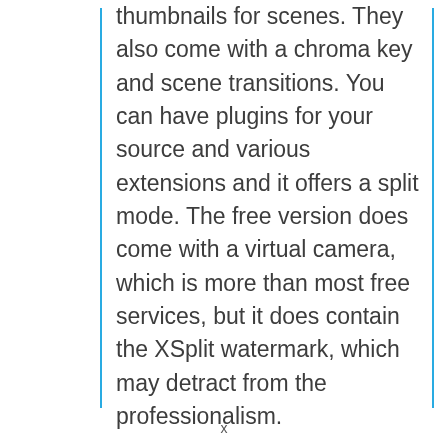thumbnails for scenes. They also come with a chroma key and scene transitions. You can have plugins for your source and various extensions and it offers a split mode. The free version does come with a virtual camera, which is more than most free services, but it does contain the XSplit watermark, which may detract from the professionalism.
You will receive unlimited resolution, but if you exceed 720p they will place an XSplit watermark on your media.
x